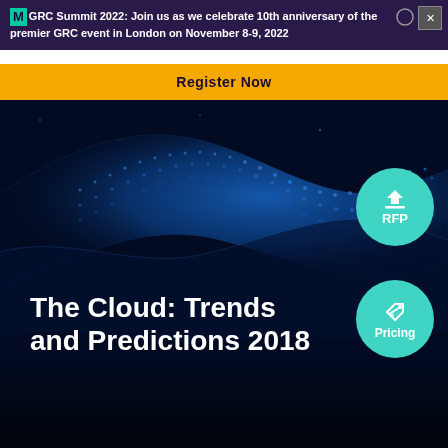GRC Summit 2022: Join us as we celebrate 10th anniversary of the premier GRC event in London on November 8-9, 2022
Register Now
The Cloud: Trends and Predictions 2018
[Figure (illustration): Two teal circular badge icons: one labeled RFP with a download arrow, one labeled Pricing with a tag icon, overlaid on the hero image]
[Figure (photo): Dark blue background with a glowing blue digital wave/ribbon made of dots and particles, suggesting cloud technology theme]